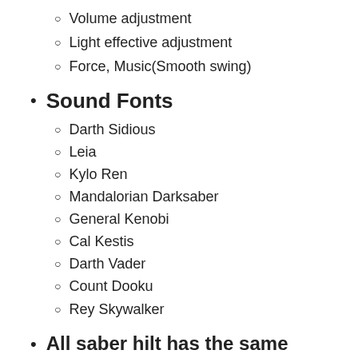Volume adjustment
Light effective adjustment
Force, Music(Smooth swing)
Sound Fonts
Darth Sidious
Leia
Kylo Ren
Mandalorian Darksaber
General Kenobi
Cal Kestis
Darth Vader
Count Dooku
Rey Skywalker
All saber hilt has the same threads you can get our empty hilt parts and